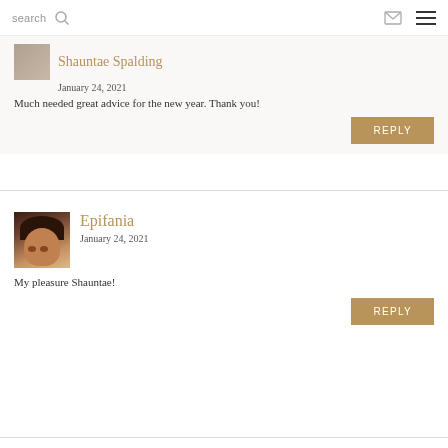search
Shauntae Spalding
January 24, 2021
Much needed great advice for the new year. Thank you!
REPLY
Epifania
January 24, 2021
My pleasure Shauntae!
REPLY